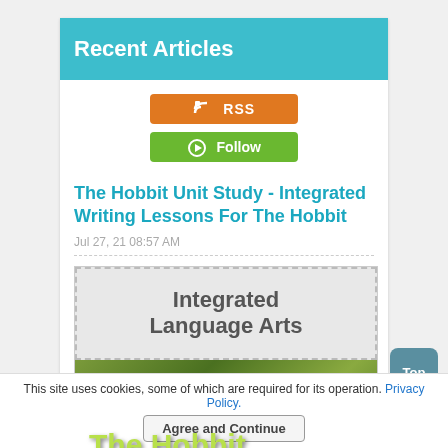Recent Articles
[Figure (other): RSS feed button (orange)]
[Figure (other): Follow button (green)]
The Hobbit Unit Study - Integrated Writing Lessons For The Hobbit
Jul 27, 21 08:57 AM
[Figure (illustration): Book cover showing 'Integrated Language Arts' on top and 'The Hobbit' on the bottom with a garden background]
This site uses cookies, some of which are required for its operation. Privacy Policy.
Agree and Continue